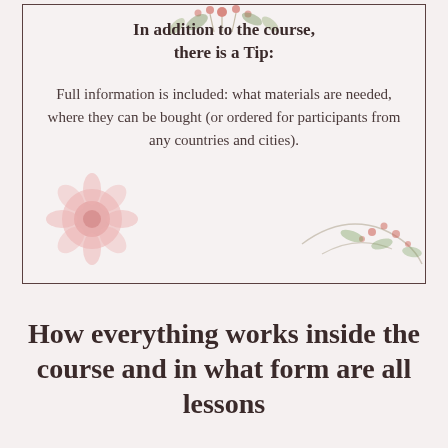[Figure (illustration): Bordered card box with floral/berry decorative background illustration (red flowers, green leaves, berries). Contains a bold title and descriptive text.]
In addition to the course, there is a Tip:
Full information is included: what materials are needed, where they can be bought (or ordered for participants from any countries and cities).
How everything works inside the course and in what form are all lessons